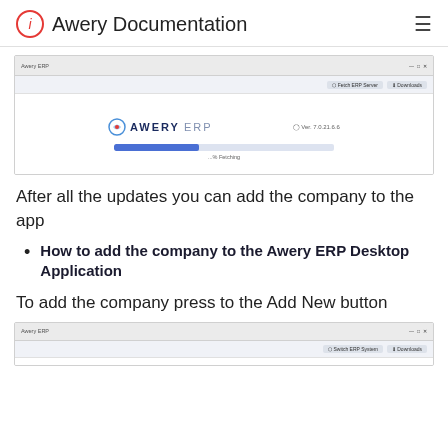Awery Documentation
[Figure (screenshot): Screenshot of Awery ERP desktop application loading screen with progress bar at approximately 40% and version number displayed]
After all the updates you can add the company to the app
How to add the company to the Awery ERP Desktop Application
To add the company press to the Add New button
[Figure (screenshot): Screenshot of Awery ERP desktop application window with toolbar buttons visible]